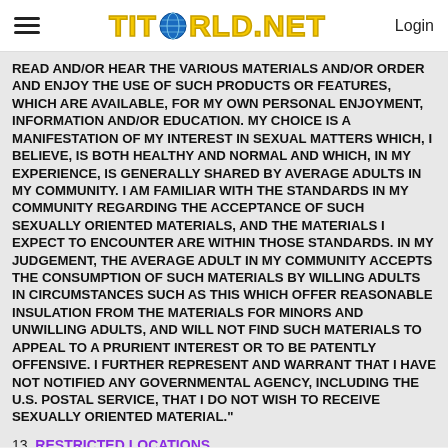TITWORLD.NET   Login
READ AND/OR HEAR THE VARIOUS MATERIALS AND/OR ORDER AND ENJOY THE USE OF SUCH PRODUCTS OR FEATURES, WHICH ARE AVAILABLE, FOR MY OWN PERSONAL ENJOYMENT, INFORMATION AND/OR EDUCATION. MY CHOICE IS A MANIFESTATION OF MY INTEREST IN SEXUAL MATTERS WHICH, I BELIEVE, IS BOTH HEALTHY AND NORMAL AND WHICH, IN MY EXPERIENCE, IS GENERALLY SHARED BY AVERAGE ADULTS IN MY COMMUNITY. I AM FAMILIAR WITH THE STANDARDS IN MY COMMUNITY REGARDING THE ACCEPTANCE OF SUCH SEXUALLY ORIENTED MATERIALS, AND THE MATERIALS I EXPECT TO ENCOUNTER ARE WITHIN THOSE STANDARDS. IN MY JUDGEMENT, THE AVERAGE ADULT IN MY COMMUNITY ACCEPTS THE CONSUMPTION OF SUCH MATERIALS BY WILLING ADULTS IN CIRCUMSTANCES SUCH AS THIS WHICH OFFER REASONABLE INSULATION FROM THE MATERIALS FOR MINORS AND UNWILLING ADULTS, AND WILL NOT FIND SUCH MATERIALS TO APPEAL TO A PRURIENT INTEREST OR TO BE PATENTLY OFFENSIVE. I FURTHER REPRESENT AND WARRANT THAT I HAVE NOT NOTIFIED ANY GOVERNMENTAL AGENCY, INCLUDING THE U.S. POSTAL SERVICE, THAT I DO NOT WISH TO RECEIVE SEXUALLY ORIENTED MATERIAL."
13. RESTRICTED LOCATIONS
the site and Model services may not be accessed, viewed, downloaded or otherwise received in any country or location in